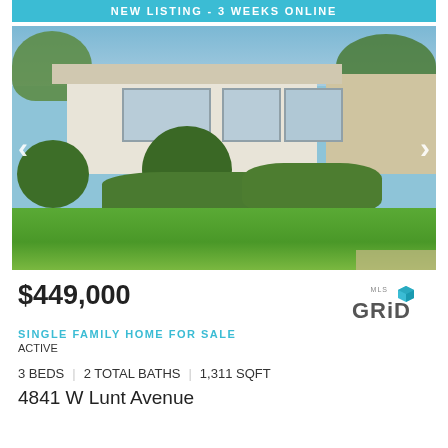[Figure (photo): Exterior photo of a single-family ranch-style home with white siding, brick accents, large windows, trimmed spherical bushes in front, and a green lawn. A teal banner at top reads NEW LISTING - 3 WEEKS ONLINE. Left and right navigation arrows visible.]
$449,000
SINGLE FAMILY HOME FOR SALE
ACTIVE
3 BEDS | 2 TOTAL BATHS | 1,311 SQFT
4841 W Lunt Avenue